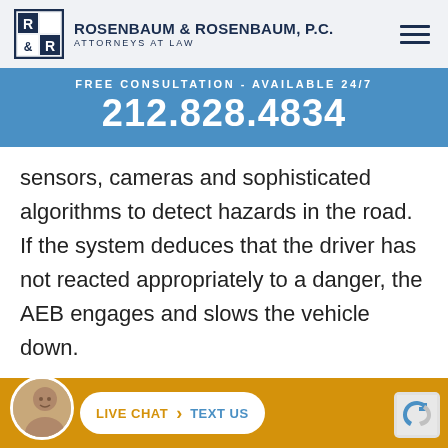[Figure (logo): Rosenbaum & Rosenbaum, P.C. law firm logo with R&R mark and firm name]
FREE CONSULTATION - AVAILABLE 24/7
212.828.4834
sensors, cameras and sophisticated algorithms to detect hazards in the road. If the system deduces that the driver has not reacted appropriately to a danger, the AEB engages and slows the vehicle down.
So far, 20 car companies have signed the pledge. Tesla, G... M...
LIVE CHAT   TEXT US